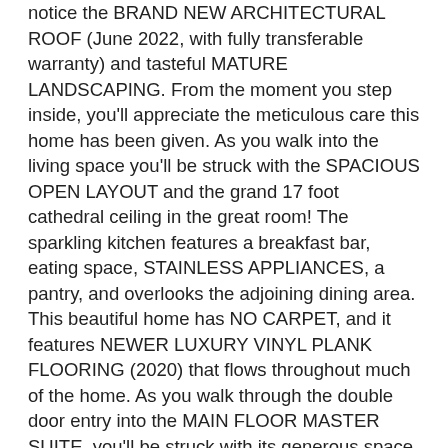notice the BRAND NEW ARCHITECTURAL ROOF (June 2022, with fully transferable warranty) and tasteful MATURE LANDSCAPING. From the moment you step inside, you'll appreciate the meticulous care this home has been given. As you walk into the living space you'll be struck with the SPACIOUS OPEN LAYOUT and the grand 17 foot cathedral ceiling in the great room! The sparkling kitchen features a breakfast bar, eating space, STAINLESS APPLIANCES, a pantry, and overlooks the adjoining dining area. This beautiful home has NO CARPET, and it features NEWER LUXURY VINYL PLANK FLOORING (2020) that flows throughout much of the home. As you walk through the double door entry into the MAIN FLOOR MASTER SUITE, you'll be struck with its generous space, and you'll be delighted to discover the large WALK-IN CLOSET. In the en suite master bath you'll find plenty of counter space, double sinks, a garden tub, and a walk-in shower. Also on the main floor tucked away in the front hallway, you'll find the convenient half bath and the laundry area which INCLUDES THE WASHER AND DRYER. Also included is the NEWER RHEEM GAS WATER HEATER (2019). The gorgeous SWEEPING STAIRCASE leads to the